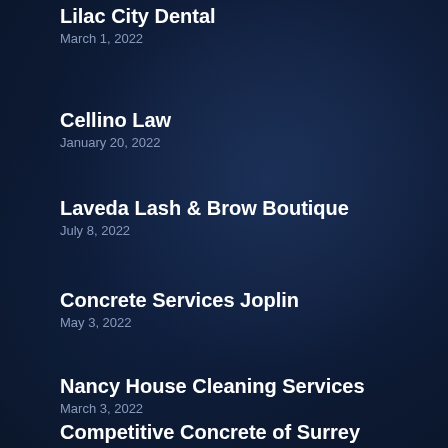Lilac City Dental
March 1, 2022
Cellino Law
January 20, 2022
Laveda Lash & Brow Boutique
July 8, 2022
Concrete Services Joplin
May 3, 2022
Nancy House Cleaning Services
March 3, 2022
Competitive Concrete of Surrey